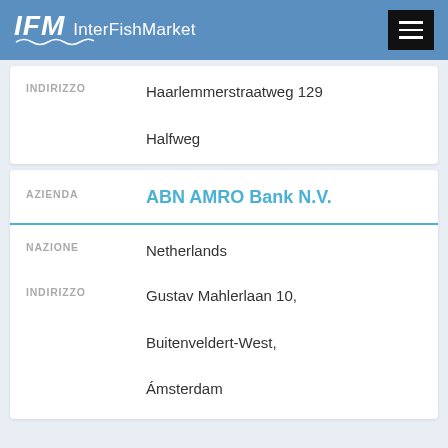IFM InterFishMarket
| Label | Value |
| --- | --- |
| INDIRIZZO | Haarlemmerstraatweg 129
Halfweg |
| AZIENDA | ABN AMRO Bank N.V. |
| NAZIONE | Netherlands |
| INDIRIZZO | Gustav Mahlerlaan 10, Buitenveldert-West, Ámsterdam |